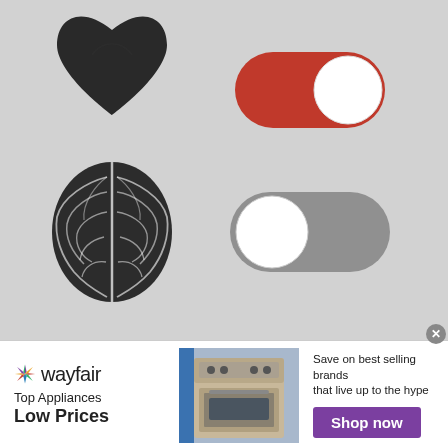[Figure (illustration): Concept illustration showing heart icon with red toggle switch (ON) in top row, and brain icon with gray toggle switch (OFF) in bottom row, on a light gray textured background. Represents emotion ON vs logic OFF.]
[Figure (infographic): Wayfair advertisement banner: Wayfair logo on left, 'Top Appliances Low Prices' text, image of stove/range appliance in center, 'Save on best selling brands that live up to the hype' on right with purple 'Shop now' button.]